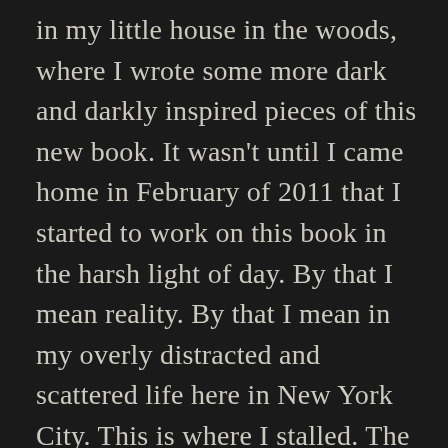in my little house in the woods, where I wrote some more dark and darkly inspired pieces of this new book. It wasn't until I came home in February of 2011 that I started to work on this book in the harsh light of day. By that I mean reality. By that I mean in my overly distracted and scattered life here in New York City. This is where I stalled. The first draft wouldn't come easily. It threatened my sanity. It forced me to relearn everything I thought I knew about writing novels. Let's just say that it took a lot out of me. [...]